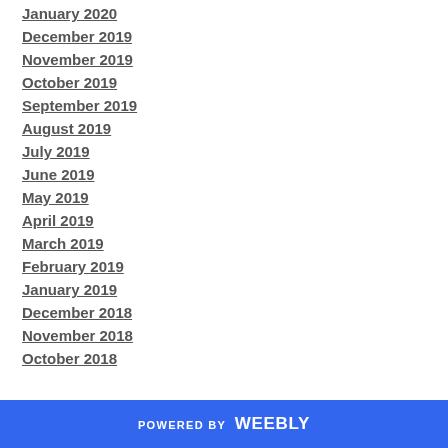January 2020
December 2019
November 2019
October 2019
September 2019
August 2019
July 2019
June 2019
May 2019
April 2019
March 2019
February 2019
January 2019
December 2018
November 2018
October 2018
POWERED BY weebly